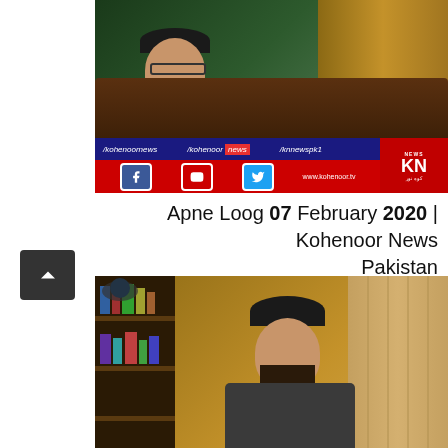[Figure (photo): TV interview screenshot from Kohenoor News Pakistan showing a man in a black suit with mustache speaking at a desk, with social media handles /kohenoornews, /kohenoor news, /knnewspk1 and KN News logo, Facebook, YouTube, Twitter icons and www.kohenoor.tv website shown in the lower banner]
Apne Loog 07 February 2020 | Kohenoor News Pakistan
[Figure (photo): TV interview screenshot from Kohenoor News Pakistan showing a young man with beard wearing a plaid/checkered shirt, seated in a studio with wooden wall background and bookshelf visible on left side]